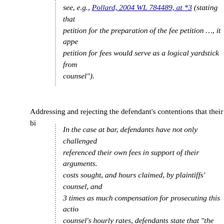see, e.g., Pollard, 2004 WL 784489, at *3 (stating that petition for the preparation of the fee petition …, it appears petition for fees would serve as a logical yardstick from counsel").
Addressing and rejecting the defendant's contentions that their bi
In the case at bar, defendants have not only challenged referenced their own fees in support of their arguments. costs sought, and hours claimed, by plaintiffs' counsel, and 3 times as much compensation for prosecuting this action counsel's hourly rates, defendants state that "the rates charged that over a certain period, "Radec was charged only the f period...." Id. at 19.
Thus, defense counsel themselves have put at issue the reason their own hours and rates as yardsticks by which to assess counsel's billing records are relevant and discoverable. at *7 (N.D.W.Va. May 5, 2010) ("absent an attempt [by de